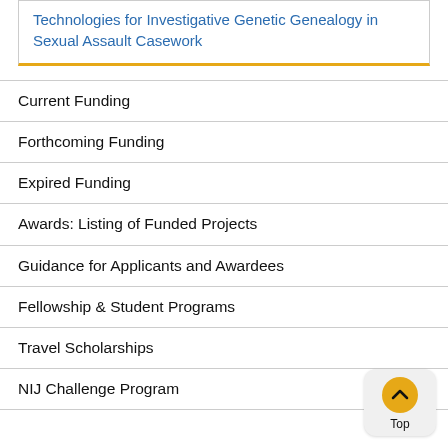Technologies for Investigative Genetic Genealogy in Sexual Assault Casework
Current Funding
Forthcoming Funding
Expired Funding
Awards: Listing of Funded Projects
Guidance for Applicants and Awardees
Fellowship & Student Programs
Travel Scholarships
NIJ Challenge Program